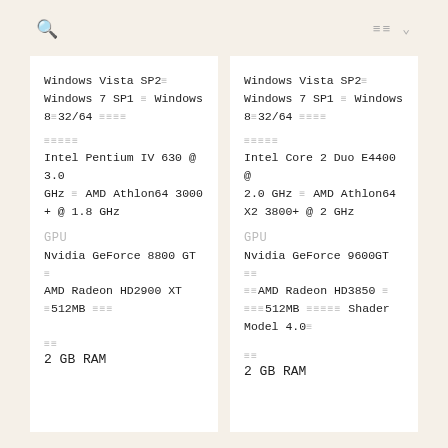🔍  ≡≡ ∨
Windows Vista SP2≡ Windows 7 SP1 ≡ Windows 8≡32/64 ≡≡≡≡
≡≡≡≡≡
Intel Pentium IV 630 @ 3.0 GHz ≡ AMD Athlon64 3000 + @ 1.8 GHz
GPU
Nvidia GeForce 8800 GT ≡ AMD Radeon HD2900 XT ≡512MB ≡≡≡
≡≡
2 GB RAM
Windows Vista SP2≡ Windows 7 SP1 ≡ Windows 8≡32/64 ≡≡≡≡
≡≡≡≡≡
Intel Core 2 Duo E4400 @ 2.0 GHz ≡ AMD Athlon64 X2 3800+ @ 2 GHz
GPU
Nvidia GeForce 9600GT ≡≡ ≡≡AMD Radeon HD3850 ≡ ≡≡≡512MB ≡≡≡≡≡ Shader Model 4.0≡
≡≡
2 GB RAM